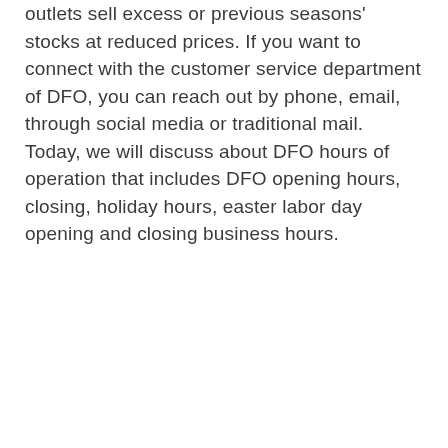outlets sell excess or previous seasons' stocks at reduced prices. If you want to connect with the customer service department of DFO, you can reach out by phone, email, through social media or traditional mail. Today, we will discuss about DFO hours of operation that includes DFO opening hours, closing, holiday hours, easter labor day opening and closing business hours.